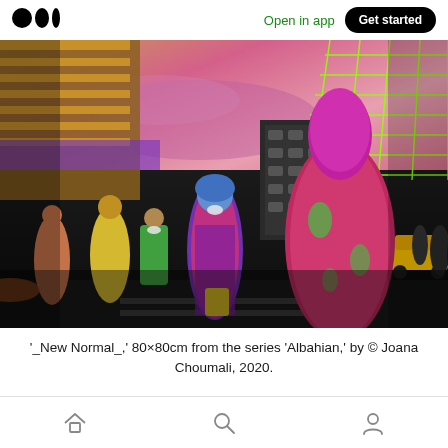Medium logo | Open in app | Get started
[Figure (photo): Artwork painting showing figures in colorful garments on a city street at dusk/night. Features a large figure in bright red/pink patterned fabric on the right, another in multicolored clothing in the center, and smaller figures in the background. City buildings, a yellow taxi, and a glowing neon green grid overlay are visible. Sky is pink/purple/orange with golden elevated train tracks on the left.]
'_New Normal_,' 80×80cm from the series 'Albahian,' by © Joana Choumali, 2020.
Home | Search | Profile navigation icons